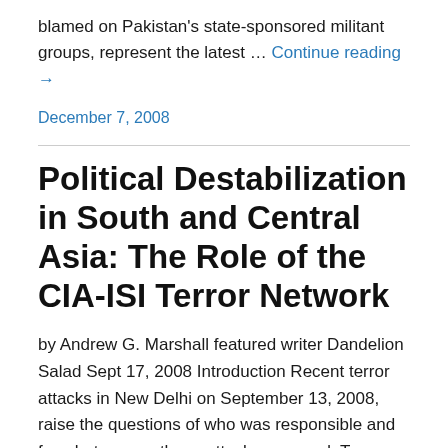blamed on Pakistan's state-sponsored militant groups, represent the latest … Continue reading →
December 7, 2008
Political Destabilization in South and Central Asia: The Role of the CIA-ISI Terror Network
by Andrew G. Marshall featured writer Dandelion Salad Sept 17, 2008 Introduction Recent terror attacks in New Delhi on September 13, 2008, raise the questions of who was responsible and for what reason these attacks occurred. Terror attacks in India are not a new